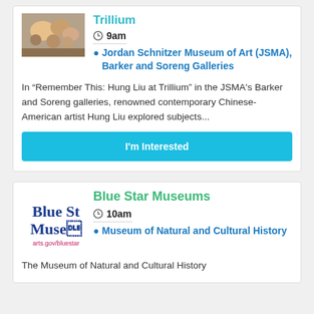[Figure (photo): Colorful photo of people or artwork, partially visible at top left]
Trillium
9am
Jordan Schnitzer Museum of Art (JSMA), Barker and Soreng Galleries
In “Remember This: Hung Liu at Trillium” in the JSMA’s Barker and Soreng galleries, renowned contemporary Chinese-American artist Hung Liu explored subjects...
I’m Interested
[Figure (logo): Blue Star Museums logo with text 'Blue St Muse' and 'arts.gov/bluestar']
Blue Star Museums
10am
Museum of Natural and Cultural History
The Museum of Natural and Cultural History